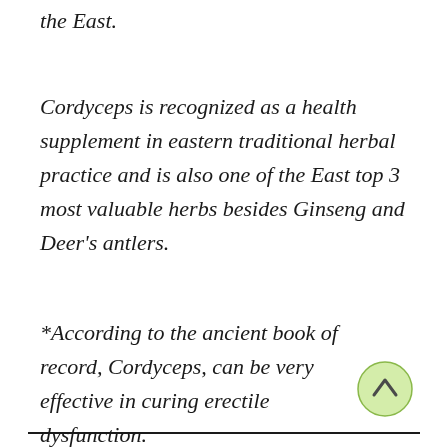the East.
Cordyceps is recognized as a health supplement in eastern traditional herbal practice and is also one of the East top 3 most valuable herbs besides Ginseng and Deer's antlers.
*According to the ancient book of record, Cordyceps, can be very effective in curing erectile dysfunction.